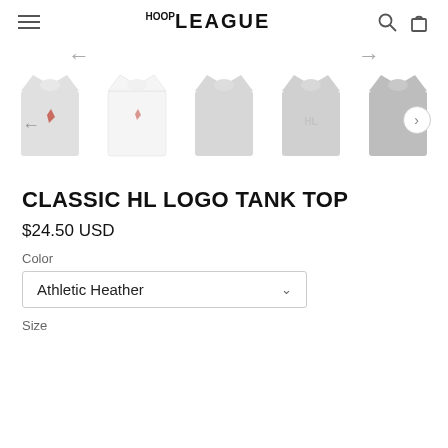HOOP LEAGUE
[Figure (screenshot): Product image carousel showing 5 tank tops: first two lighter/white tanks with small logo, then three Athletic Heather grey tanks. Navigation arrows displayed above and overlaid on the carousel.]
CLASSIC HL LOGO TANK TOP
$24.50 USD
Color
Athletic Heather
Size